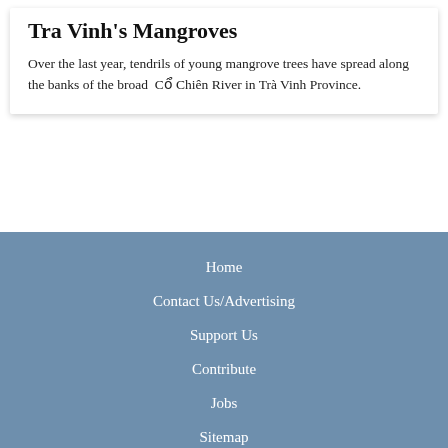Tra Vinh's Mangroves
Over the last year, tendrils of young mangrove trees have spread along the banks of the broad  Cổ Chiên River in Trà Vinh Province.
Home
Contact Us/Advertising
Support Us
Contribute
Jobs
Sitemap
Event Calendar
XPLR
Sponsored Listings
RSS